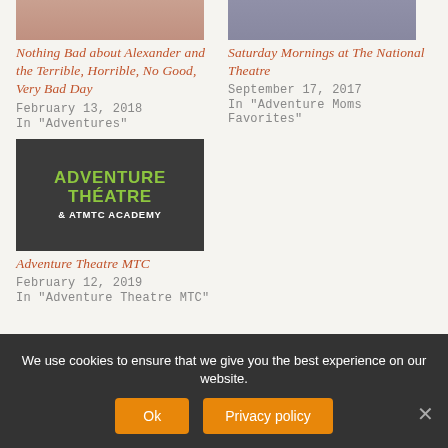[Figure (photo): Top partial photo thumbnails of two blog posts]
Nothing Bad about Alexander and the Terrible, Horrible, No Good, Very Bad Day
February 13, 2018
In "Adventures"
Saturday Mornings at The National Theatre
September 17, 2017
In "Adventure Moms Favorites"
[Figure (logo): Adventure Theatre & ATMTC Academy logo — dark background with green bold text]
Adventure Theatre MTC
February 12, 2019
In "Adventure Theatre MTC"
We use cookies to ensure that we give you the best experience on our website.
Ok
Privacy policy